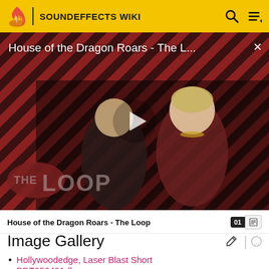SOUNDEFFECTS WIKI
[Figure (screenshot): Video thumbnail for 'House of the Dragon Roars - The L...' showing two characters from House of the Dragon over a diagonal red and black striped background with The Loop branding and a play button overlay]
House of the Dragon Roars - The Loop
Image Gallery
Hollywoodedge, Laser Blast Short
PDT050491 (b...